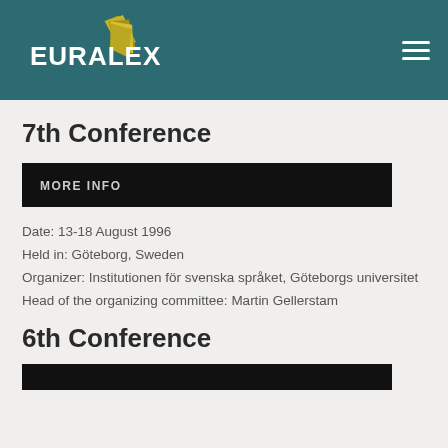[Figure (logo): EURALEX logo with gold fan/book pages graphic and white text on teal background header bar]
7th Conference
MORE INFO
Date: 13-18 August 1996
Held in: Göteborg, Sweden
Organizer: Institutionen för svenska språket, Göteborgs universitet
Head of the organizing committee: Martin Gellerstam
6th Conference